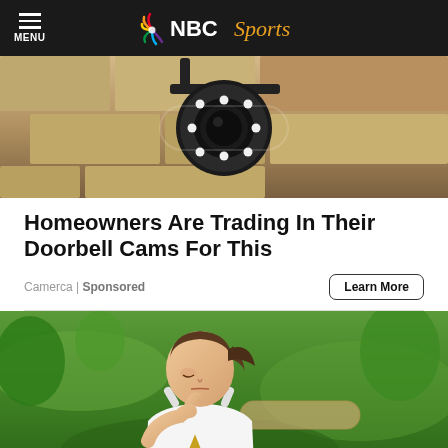MENU | NBC Sports
[Figure (photo): Close-up of a circular doorbell camera mounted on a stone/brick wall]
Homeowners Are Trading In Their Doorbell Cams For This
Camerca | Sponsored
Learn More
[Figure (photo): A young woman in a white athletic jersey bending over on a grass field, appearing emotional or catching her breath]